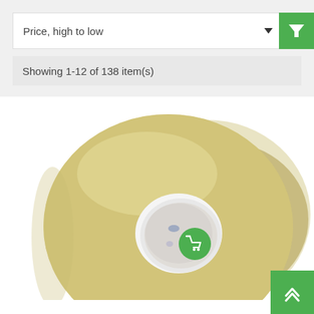Price, high to low
Showing 1-12 of 138 item(s)
[Figure (photo): A large roll of clear/yellow packing tape with a cardboard core center, photographed close-up at an angle showing the front and side of the roll. A green circular cart button is visible in the center hole area.]